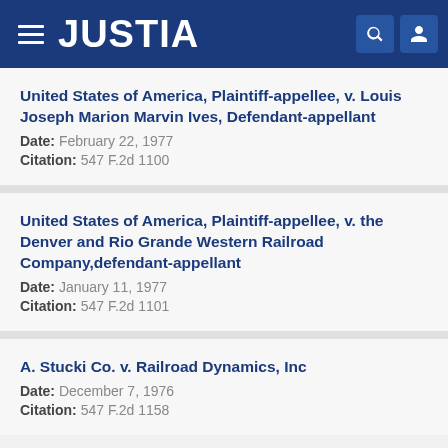JUSTIA
United States of America, Plaintiff-appellee, v. Louis Joseph Marion Marvin Ives, Defendant-appellant
Date: February 22, 1977
Citation: 547 F.2d 1100
United States of America, Plaintiff-appellee, v. the Denver and Rio Grande Western Railroad Company,defendant-appellant
Date: January 11, 1977
Citation: 547 F.2d 1101
A. Stucki Co. v. Railroad Dynamics, Inc
Date: December 7, 1976
Citation: 547 F.2d 1158